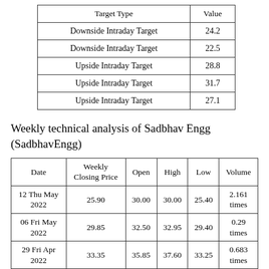| Target Type | Value |
| --- | --- |
| Downside Intraday Target | 24.2 |
| Downside Intraday Target | 22.5 |
| Upside Intraday Target | 28.8 |
| Upside Intraday Target | 31.7 |
| Upside Intraday Target | 27.1 |
Weekly technical analysis of Sadbhav Engg (SadbhavEngg)
| Date | Weekly Closing Price | Open | High | Low | Volume |
| --- | --- | --- | --- | --- | --- |
| 12 Thu May 2022 | 25.90 | 30.00 | 30.00 | 25.40 | 2.161 times |
| 06 Fri May 2022 | 29.85 | 32.50 | 32.95 | 29.40 | 0.29 times |
| 29 Fri Apr 2022 | 33.35 | 35.85 | 37.60 | 33.25 | 0.683 times |
| 22 Fri Apr 2022 | 35.85 | 36.35 | 39.00 | 32.55 | 2.288 times |
| 13 Wed Apr |  |  |  |  | 0.481 |